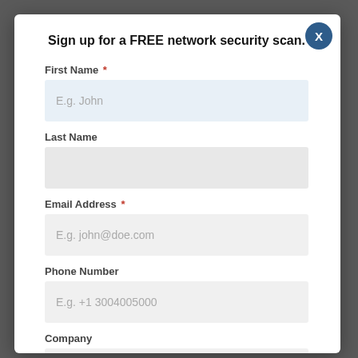Sign up for a FREE network security scan.
First Name *
E.g. John
Last Name
Email Address *
E.g. john@doe.com
Phone Number
E.g. +1 3004005000
Company